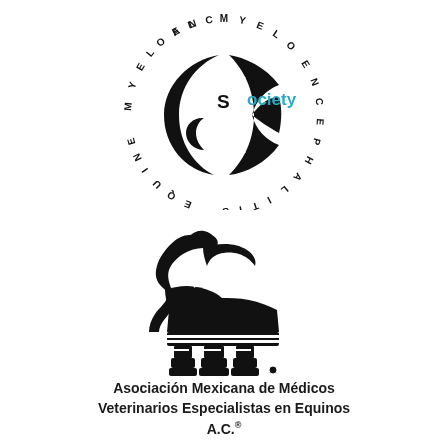[Figure (logo): Equine Myeloencephalitis Society circular logo with swirling black and white design and 'ociety' text in teal/black]
[Figure (logo): Black stylized chess knight horse piece logo for Asociación Mexicana de Médicos Veterinarios Especialistas en Equinos A.C.]
Asociación Mexicana de Médicos Veterinarios Especialistas en Equinos A.C.®